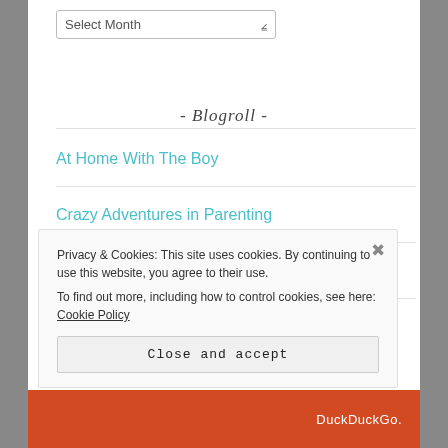[Figure (screenshot): Select Month dropdown widget]
- Blogroll -
At Home With The Boy
Crazy Adventures in Parenting
Motherhood for the Phobic
Scary Mommy
Privacy & Cookies: This site uses cookies. By continuing to use this website, you agree to their use. To find out more, including how to control cookies, see here: Cookie Policy
Close and accept